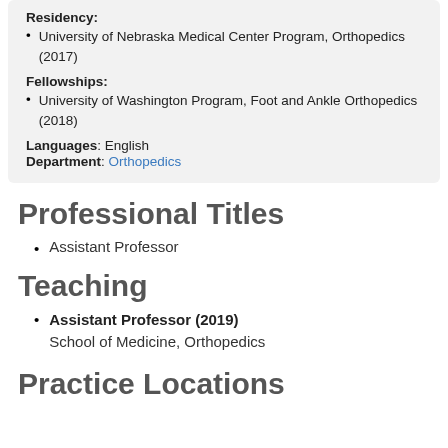Residency:
University of Nebraska Medical Center Program, Orthopedics (2017)
Fellowships:
University of Washington Program, Foot and Ankle Orthopedics (2018)
Languages: English
Department: Orthopedics
Professional Titles
Assistant Professor
Teaching
Assistant Professor (2019)
School of Medicine, Orthopedics
Practice Locations